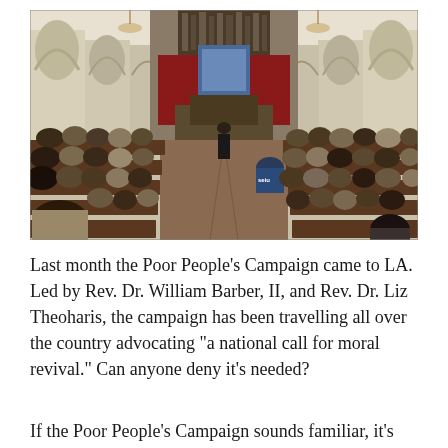[Figure (photo): Interior of a large church filled with people seated in pews, viewed from the back looking toward the altar. The church has white Gothic arches along both sides, dark wooden pews, and a large ornate altar area with dark wood and red curtains. Organ pipes are visible at the top center. Chandeliers hang from the ceiling. People are seated densely on both sides of the central aisle; one person in the center wears a blue 'seiu' shirt. The congregation appears to be attending a meeting or event.]
Last month the Poor People's Campaign came to LA. Led by Rev. Dr. William Barber, II, and Rev. Dr. Liz Theoharis, the campaign has been travelling all over the country advocating “a national call for moral revival.” Can anyone deny it’s needed?
If the Poor People’s Campaign sounds familiar, it’s